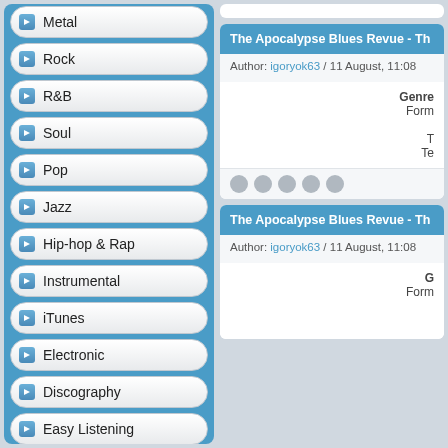Metal
Rock
R&B
Soul
Pop
Jazz
Hip-hop & Rap
Instrumental
iTunes
Electronic
Discography
Easy Listening
Music Video
The Apocalypse Blues Revue - Th...
Author: igoryok63  /  11 August, 11:08
Genre
Form
T
Te
The Apocalypse Blues Revue - Th...
Author: igoryok63  /  11 August, 11:08
G
Form